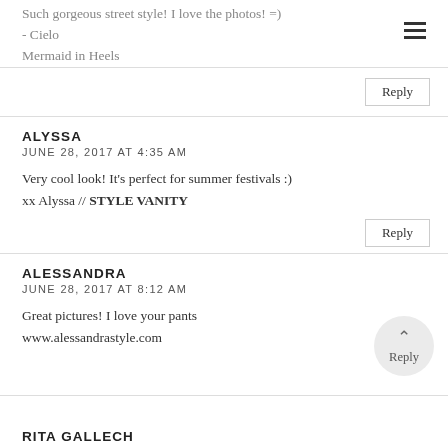Such gorgeous street style! I love the photos! =)
- Cielo
Mermaid in Heels
Reply
ALYSSA
JUNE 28, 2017 AT 4:35 AM
Very cool look! It's perfect for summer festivals :)
xx Alyssa // STYLE VANITY
Reply
ALESSANDRA
JUNE 28, 2017 AT 8:12 AM
Great pictures! I love your pants
www.alessandrastyle.com
Reply
RITA GALLECH